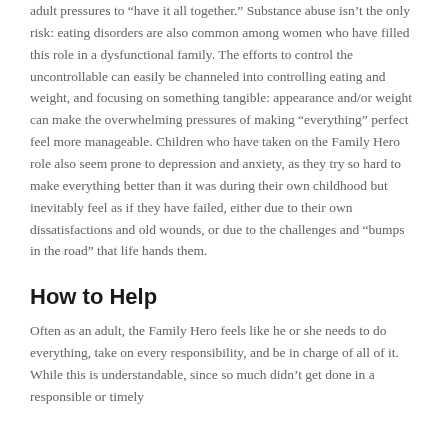adult pressures to “have it all together.” Substance abuse isn’t the only risk: eating disorders are also common among women who have filled this role in a dysfunctional family. The efforts to control the uncontrollable can easily be channeled into controlling eating and weight, and focusing on something tangible: appearance and/or weight can make the overwhelming pressures of making “everything” perfect feel more manageable. Children who have taken on the Family Hero role also seem prone to depression and anxiety, as they try so hard to make everything better than it was during their own childhood but inevitably feel as if they have failed, either due to their own dissatisfactions and old wounds, or due to the challenges and “bumps in the road” that life hands them.
How to Help
Often as an adult, the Family Hero feels like he or she needs to do everything, take on every responsibility, and be in charge of all of it. While this is understandable, since so much didn’t get done in a responsible or timely